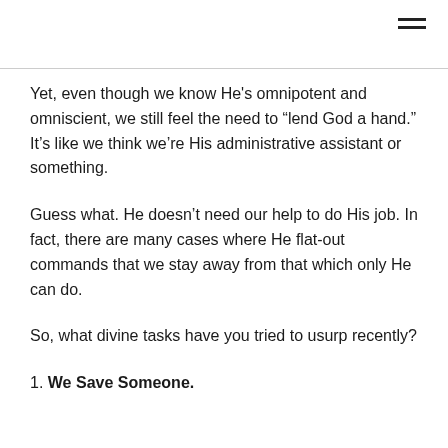≡
Yet, even though we know He's omnipotent and omniscient, we still feel the need to “lend God a hand.” It’s like we think we’re His administrative assistant or something.
Guess what. He doesn’t need our help to do His job. In fact, there are many cases where He flat-out commands that we stay away from that which only He can do.
So, what divine tasks have you tried to usurp recently?
1. We Save Someone.